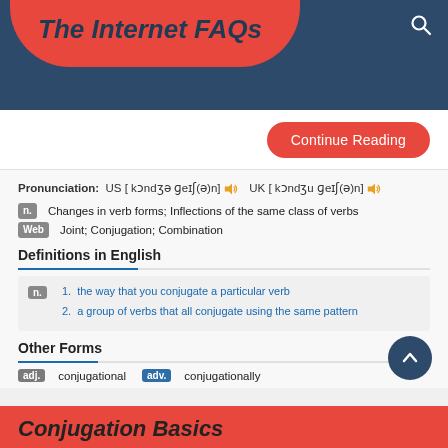The Internet FAQs
Continue Reading
Pronunciation:  US [ kɒndʒə ɡeɪʃ(ə)n]  UK [ kɒndʒu ɡeɪʃ(ə)n]
n. Changes in verb forms; Inflections of the same class of verbs
Web  Joint; Conjugation; Combination
Definitions in English
1. the way that you conjugate a particular verb
2. a group of verbs that all conjugate using the same pattern
Other Forms
adj.  conjugational   adv.  conjugationally
Conjugation Basics